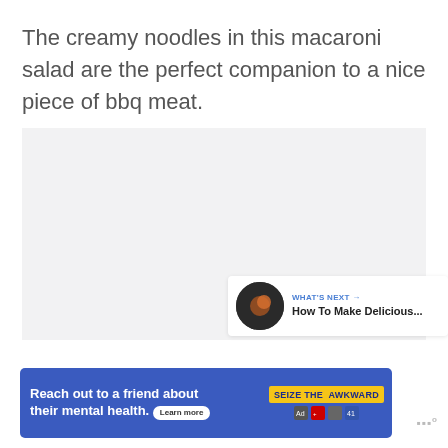The creamy noodles in this macaroni salad are the perfect companion to a nice piece of bbq meat.
[Figure (photo): Light gray placeholder image area for a macaroni salad photo]
[Figure (infographic): UI overlay with heart/like button (blue circle), like count '24', and share button (white circle with share icon)]
[Figure (infographic): WHAT'S NEXT card: thumbnail image on dark background with text 'WHAT'S NEXT → How To Make Delicious...' in blue and black]
[Figure (infographic): Advertisement banner: blue background with white bold text 'Reach out to a friend about their mental health. Learn more' and yellow 'SEIZE THE AWKWARD' badge with ad compliance icons]